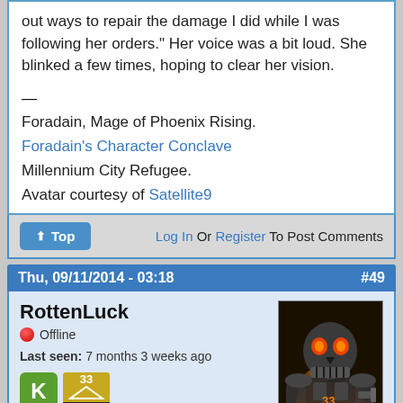out ways to repair the damage I did while I was following her orders." Her voice was a bit loud. She blinked a few times, hoping to clear her vision.

—

Foradain, Mage of Phoenix Rising.
Foradain's Character Conclave
Millennium City Refugee.
Avatar courtesy of Satellite9
Log In Or Register To Post Comments
Thu, 09/11/2014 - 03:18  #49
RottenLuck
Offline
Last seen: 7 months 3 weeks ago
Joined: 12/05/2012 - 20:32
[Figure (photo): Avatar image of a robotic/cyborg skull character with flames, styled like a terminator]